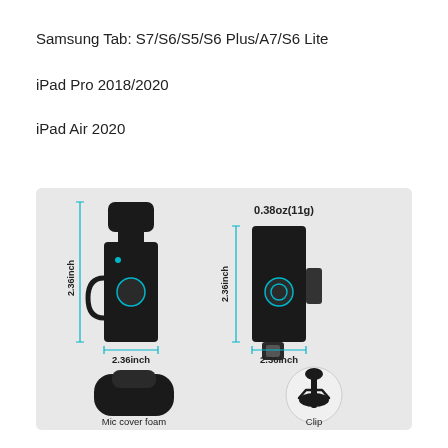Samsung Tab: S7/S6/S5/S6 Plus/A7/S6 Lite
iPad Pro 2018/2020
iPad Air 2020
[Figure (engineering-diagram): Product dimensions diagram showing a wireless microphone transmitter and receiver. Both units labeled 2.36inch x 2.36inch. Weight labeled 0.38oz(11g). Bottom row shows mic cover foam (rounded square shape) and clip accessory (circular with clip).]